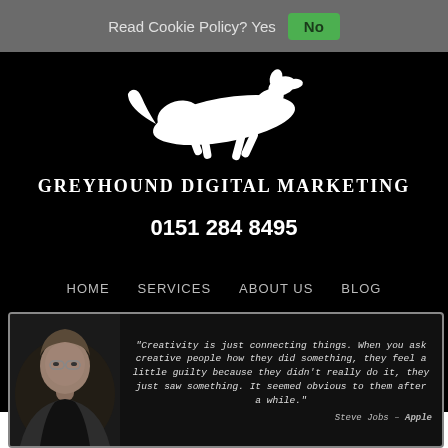Read Cookie Policy? Yes  No
[Figure (logo): Greyhound Digital Marketing logo — white silhouette of a running greyhound on black background with company name below]
GREYHOUND DIGITAL MARKETING
0151 284 8495
HOME
SERVICES
ABOUT US
BLOG
[Figure (photo): Photo of Steve Jobs alongside an inspirational quote on dark background]
"Creativity is just connecting things. When you ask creative people how they did something, they feel a little guilty because they didn't really do it, they just saw something. It seemed obvious to them after a while."
Steve Jobs – Apple